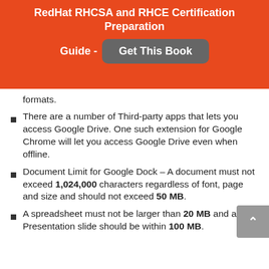RedHat RHCSA and RHCE Certification Preparation Guide - Get This Book
formats.
There are a number of Third-party apps that lets you access Google Drive. One such extension for Google Chrome will let you access Google Drive even when offline.
Document Limit for Google Dock – A document must not exceed 1,024,000 characters regardless of font, page and size and should not exceed 50 MB.
A spreadsheet must not be larger than 20 MB and a Presentation slide should be within 100 MB.